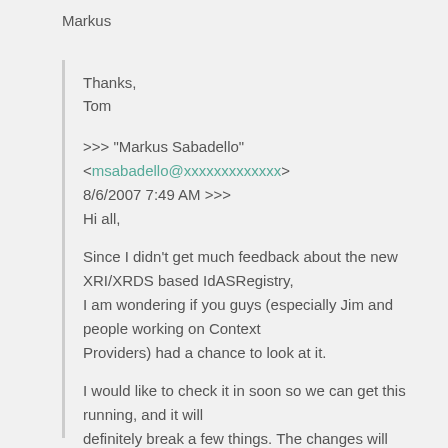Markus
Thanks,
Tom
>>> "Markus Sabadello" <msabadello@xxxxxxxxxxxxx> 8/6/2007 7:49 AM >>>
Hi all,

Since I didn't get much feedback about the new XRI/XRDS based IdASRegistry,
I am wondering if you guys (especially Jim and people working on Context
Providers) had a chance to look at it.

I would like to check it in soon so we can get this running, and it will
definitely break a few things. The changes will include replacing
ContextRefs with ContextIds in the IContextFactory interface.